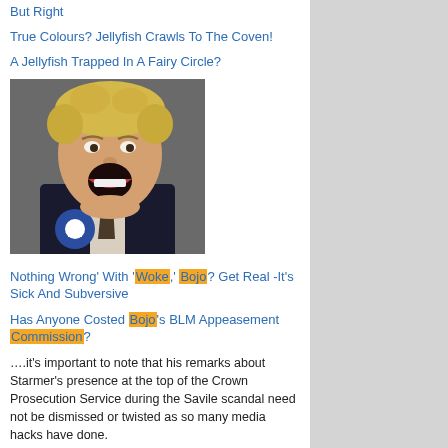But Right
True Colours? Jellyfish Crawls To The Coven!
A Jellyfish Trapped In A Fairy Circle?
[Figure (photo): Man with blonde dishevelled hair, mouth open wide, wearing dark suit and blue Conservative rosette]
Nothing Wrong' With 'Woke,' Bojo? Get Real -It's Sick And Subversive
Has Anyone Costed Bojo's BLM Appeasement Commission?
….it's important to note that his remarks about Starmer's presence at the top of the Crown Prosecution Service during the Savile scandal need not be dismissed or twisted as so many media hacks have done.